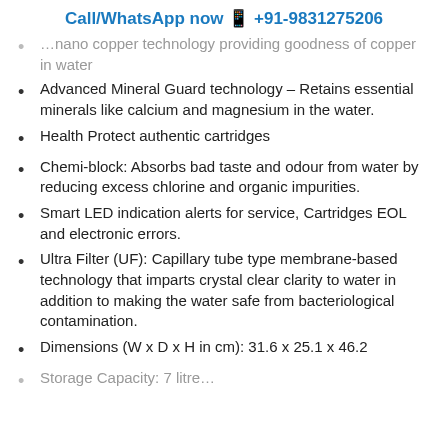Call/WhatsApp now 📱 +91-9831275206
…nano copper technology providing goodness of copper in water
Advanced Mineral Guard technology – Retains essential minerals like calcium and magnesium in the water.
Health Protect authentic cartridges
Chemi-block: Absorbs bad taste and odour from water by reducing excess chlorine and organic impurities.
Smart LED indication alerts for service, Cartridges EOL and electronic errors.
Ultra Filter (UF): Capillary tube type membrane-based technology that imparts crystal clear clarity to water in addition to making the water safe from bacteriological contamination.
Dimensions (W x D x H in cm): 31.6 x 25.1 x 46.2
Storage Capacity: 7 litre…